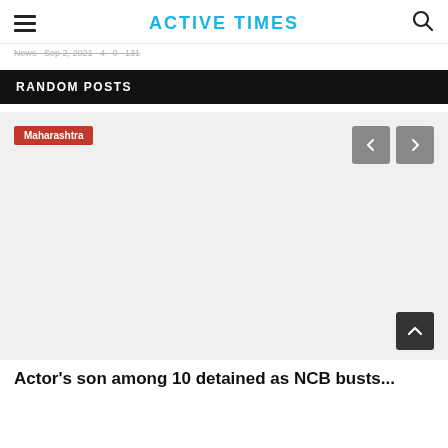ACTIVE TIMES
News · Sep 2, 2021 · 4 · 0 · 131
RANDOM POSTS
[Figure (screenshot): News article card with Maharashtra tag label, left/right navigation arrows, scroll-to-top button, and a light gray image placeholder area]
Actor's son among 10 detained as NCB busts...